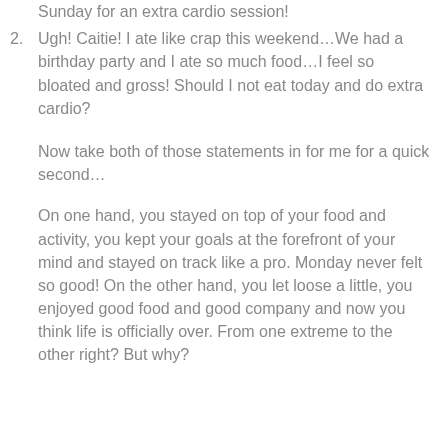Sunday for an extra cardio session!
Ugh! Caitie! I ate like crap this weekend…We had a birthday party and I ate so much food…I feel so bloated and gross! Should I not eat today and do extra cardio?
Now take both of those statements in for me for a quick second…
On one hand, you stayed on top of your food and activity, you kept your goals at the forefront of your mind and stayed on track like a pro. Monday never felt so good! On the other hand, you let loose a little, you enjoyed good food and good company and now you think life is officially over. From one extreme to the other right? But why?